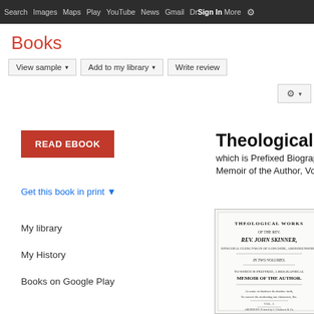Search  Images  Maps  Play  YouTube  News  Gmail  Drive More  Sign In  [settings]
Books
View sample ▾   Add to my library ▾   Write review
[Figure (screenshot): READ EBOOK button (red)]
Theological Wo…
which is Prefixed Biograp…
Memoir of the Author, Vol…
Get this book in print ▼
[Figure (photo): Book cover of Theological Works by Rev. John Skinner]
John …
J. Ch…
1809
★★…
0 Rev…
My library
My History
Books on Google Play